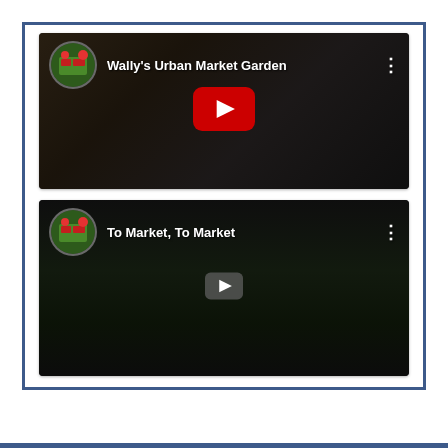[Figure (screenshot): YouTube video thumbnail screenshot: 'Wally's Urban Market Garden' with channel avatar, video title in white text, red YouTube play button in center, three-dot menu icon]
[Figure (screenshot): YouTube video thumbnail screenshot: 'To Market, To Market' with channel avatar, video title in white text, small grey play button in center, three-dot menu icon, dark image with green vegetables visible]